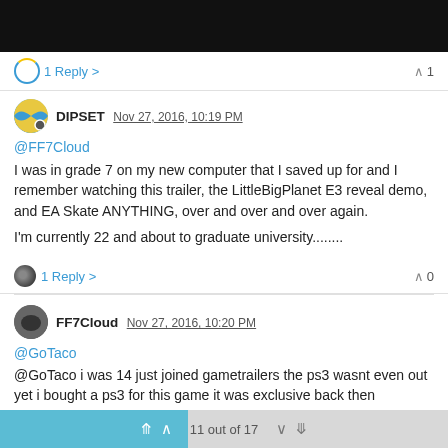[Figure (screenshot): Black banner bar at top of page]
1 Reply > ▲ 1
DIPSET Nov 27, 2016, 10:19 PM
@FF7Cloud
I was in grade 7 on my new computer that I saved up for and I remember watching this trailer, the LittleBigPlanet E3 reveal demo, and EA Skate ANYTHING, over and over and over again.
I'm currently 22 and about to graduate university........
1 Reply > ▲ 0
FF7Cloud Nov 27, 2016, 10:20 PM
@GoTaco i was 14 just joined gametrailers the ps3 wasnt even out yet i bought a ps3 for this game it was exclusive back then
11 out of 17